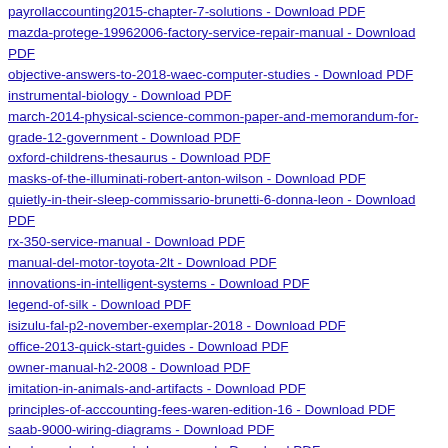payrollaccounting2015-chapter-7-solutions - Download PDF
mazda-protege-19962006-factory-service-repair-manual - Download PDF
objective-answers-to-2018-waec-computer-studies - Download PDF
instrumental-biology - Download PDF
march-2014-physical-science-common-paper-and-memorandum-for-grade-12-government - Download PDF
oxford-childrens-thesaurus - Download PDF
masks-of-the-illuminati-robert-anton-wilson - Download PDF
quietly-in-their-sleep-commissario-brunetti-6-donna-leon - Download PDF
rx-350-service-manual - Download PDF
manual-del-motor-toyota-2lt - Download PDF
innovations-in-intelligent-systems - Download PDF
legend-of-silk - Download PDF
isizulu-fal-p2-november-exemplar-2018 - Download PDF
office-2013-quick-start-guides - Download PDF
owner-manual-h2-2008 - Download PDF
imitation-in-animals-and-artifacts - Download PDF
principles-of-acccounting-fees-waren-edition-16 - Download PDF
saab-9000-wiring-diagrams - Download PDF
land-roverlander-workshop-manual - Download PDF
merck-manual-diagnosis-therapy-14th-edition - Download PDF
modern-elements-hair-dryer - Download PDF